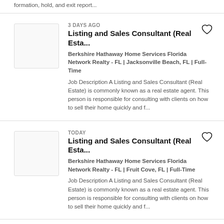formation, hold, and exit report...
3 DAYS AGO
Listing and Sales Consultant (Real Esta...
Berkshire Hathaway Home Services Florida Network Realty - FL | Jacksonville Beach, FL | Full-Time
Job Description A Listing and Sales Consultant (Real Estate) is commonly known as a real estate agent. This person is responsible for consulting with clients on how to sell their home quickly and f...
TODAY
Listing and Sales Consultant (Real Esta...
Berkshire Hathaway Home Services Florida Network Realty - FL | Fruit Cove, FL | Full-Time
Job Description A Listing and Sales Consultant (Real Estate) is commonly known as a real estate agent. This person is responsible for consulting with clients on how to sell their home quickly and f...